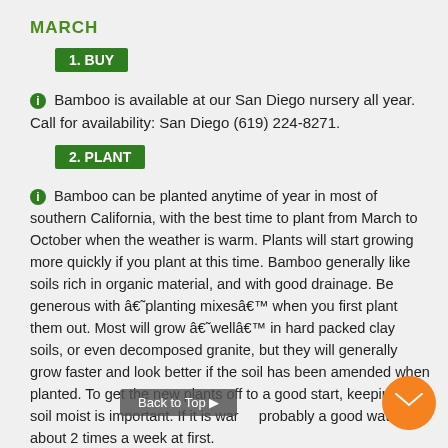MARCH
1. BUY
Bamboo is available at our San Diego nursery all year. Call for availability: San Diego (619) 224-8271.
2. PLANT
Bamboo can be planted anytime of year in most of southern California, with the best time to plant from March to October when the weather is warm. Plants will start growing more quickly if you plant at this time. Bamboo generally like soils rich in organic material, and with good drainage. Be generous with â€˜planting mixesâ€™ when you first plant them out. Most will grow â€˜wellâ€™ in hard packed clay soils, or even decomposed granite, but they will generally grow faster and look better if the soil has been amended when planted. To get the new plants off to a good start, keeping the soil moist is important. If it is warm, probably a good watering about 2 times a week at first.
3. FERTILIZE
A fertilizing program with a high nitrogen plant food will encourage larger foliage, and faster growth. Generally a good application around